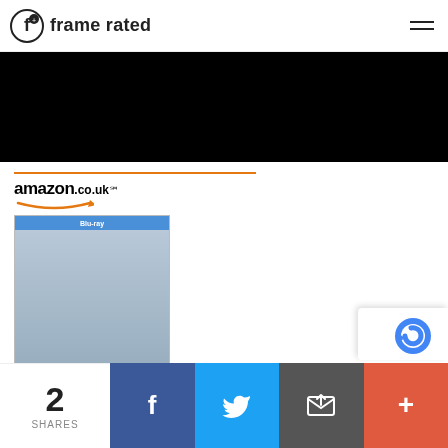frame rated
[Figure (photo): Dark/black hero banner image at top of page]
[Figure (infographic): Amazon.co.uk advertisement block showing The Huntsman: Winter's War Blu-ray product with price £4.24, Prime badge, and Shop now button]
The Huntsman: Winter's War...
£4.24
2 SHARES | Facebook | Twitter | Email | More